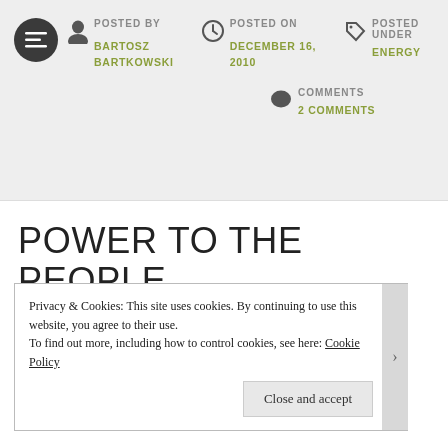POSTED BY: BARTOSZ BARTKOWSKI | POSTED ON: DECEMBER 16, 2010 | POSTED UNDER: ENERGY | COMMENTS: 2 COMMENTS
POWER TO THE PEOPLE
Privacy & Cookies: This site uses cookies. By continuing to use this website, you agree to their use. To find out more, including how to control cookies, see here: Cookie Policy
Close and accept